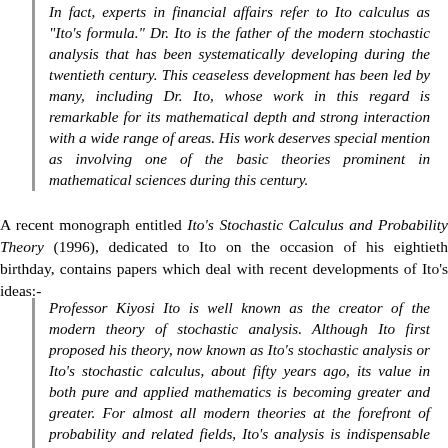In fact, experts in financial affairs refer to Ito calculus as "Ito's formula." Dr. Ito is the father of the modern stochastic analysis that has been systematically developing during the twentieth century. This ceaseless development has been led by many, including Dr. Ito, whose work in this regard is remarkable for its mathematical depth and strong interaction with a wide range of areas. His work deserves special mention as involving one of the basic theories prominent in mathematical sciences during this century.
A recent monograph entitled Ito's Stochastic Calculus and Probability Theory (1996), dedicated to Ito on the occasion of his eightieth birthday, contains papers which deal with recent developments of Ito's ideas:-
Professor Kiyosi Ito is well known as the creator of the modern theory of stochastic analysis. Although Ito first proposed his theory, now known as Ito's stochastic analysis or Ito's stochastic calculus, about fifty years ago, its value in both pure and applied mathematics is becoming greater and greater. For almost all modern theories at the forefront of probability and related fields, Ito's analysis is indispensable as an essential instrument, and it will remain so in the future. For example, a basic